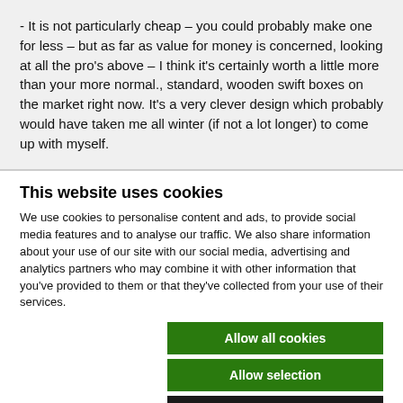- It is not particularly cheap – you could probably make one for less – but as far as value for money is concerned, looking at all the pro's above – I think it's certainly worth a little more than your more normal., standard, wooden swift boxes on the market right now. It's a very clever design which probably would have taken me all winter (if not a lot longer) to come up with myself.
This website uses cookies
We use cookies to personalise content and ads, to provide social media features and to analyse our traffic. We also share information about your use of our site with our social media, advertising and analytics partners who may combine it with other information that you've provided to them or that they've collected from your use of their services.
Allow all cookies
Allow selection
Use necessary cookies only
Necessary   Preferences   Statistics   Marketing   Show details